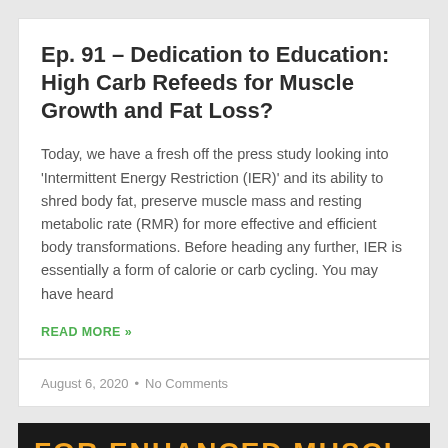Ep. 91 – Dedication to Education: High Carb Refeeds for Muscle Growth and Fat Loss?
Today, we have a fresh off the press study looking into 'Intermittent Energy Restriction (IER)' and its ability to shred body fat, preserve muscle mass and resting metabolic rate (RMR) for more effective and efficient body transformations. Before heading any further, IER is essentially a form of calorie or carb cycling. You may have heard
READ MORE »
August 6, 2020  •  No Comments
[Figure (other): Dark banner at bottom with orange text reading 'FOR ENHANCED MUSCLE']